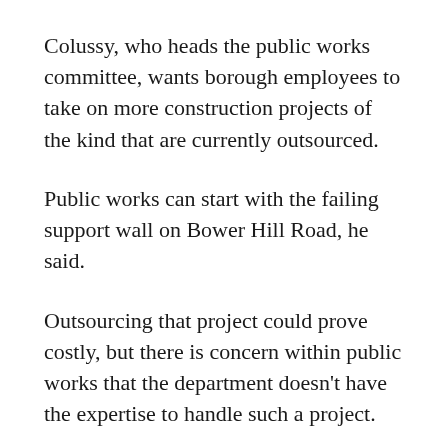Colussy, who heads the public works committee, wants borough employees to take on more construction projects of the kind that are currently outsourced.
Public works can start with the failing support wall on Bower Hill Road, he said.
Outsourcing that project could prove costly, but there is concern within public works that the department doesn’t have the expertise to handle such a project.
“[I’ve been told] that the borough guys don’t want to tackle it,” Colussy said, “and I think